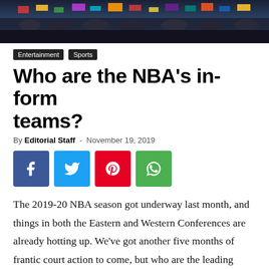[Figure (photo): Crowd photo at an NBA basketball game, colorful audience with banners and umbrellas visible]
Entertainment   Sports
Who are the NBA’s in-form teams?
By Editorial Staff - November 19, 2019
[Figure (other): Social media share buttons: Facebook (blue), Twitter (light blue), Pinterest (red), WhatsApp (green)]
The 2019-20 NBA season got underway last month, and things in both the Eastern and Western Conferences are already hotting up. We’ve got another five months of frantic court action to come, but who are the leading form teams to watch out for? Let’s take a look at some of the current pack.